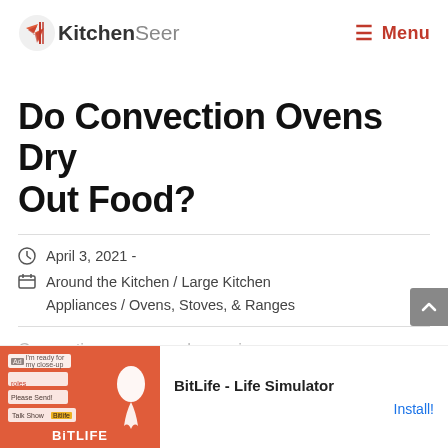KitchenSeer  ☰ Menu
Do Convection Ovens Dry Out Food?
April 3, 2021  -
Around the Kitchen  /  Large Kitchen Appliances  /  Ovens, Stoves, & Ranges
Convection ovens are becoming more popular with air fryers...convection ovens dry out foods? We researched the
[Figure (screenshot): Ad banner for BitLife - Life Simulator game with Install! button]